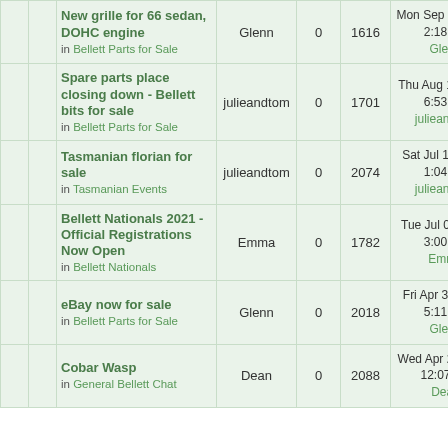|  |  | Topic | Author | Replies | Views | Last post |
| --- | --- | --- | --- | --- | --- | --- |
|  |  | New grille for 66 sedan, DOHC engine
in Bellett Parts for Sale | Glenn | 0 | 1616 | Mon Sep 13, 2021 2:18 am
Glenn |
|  |  | Spare parts place closing down - Bellett bits for sale
in Bellett Parts for Sale | julieandtom | 0 | 1701 | Thu Aug 12, 2021 6:53 am
julieandtom |
|  |  | Tasmanian florian for sale
in Tasmanian Events | julieandtom | 0 | 2074 | Sat Jul 17, 2021 1:04 am
julieandtom |
|  |  | Bellett Nationals 2021 - Official Registrations Now Open
in Bellett Nationals | Emma | 0 | 1782 | Tue Jul 06, 2021 3:00 am
Emma |
|  |  | eBay now for sale
in Bellett Parts for Sale | Glenn | 0 | 2018 | Fri Apr 30, 2021 5:11 am
Glenn |
|  |  | Cobar Wasp
in General Bellett Chat | Dean | 0 | 2088 | Wed Apr 28, 2021 12:07 am
Dean |